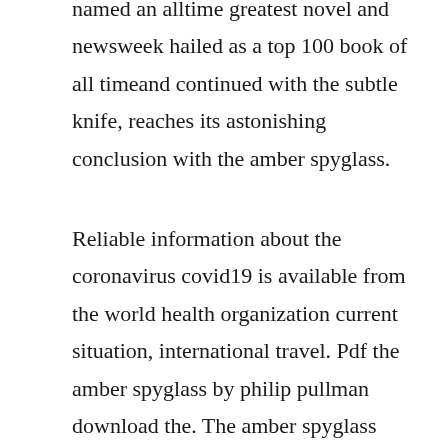named an alltime greatest novel and newsweek hailed as a top 100 book of all timeand continued with the subtle knife, reaches its astonishing conclusion with the amber spyglass.
Reliable information about the coronavirus covid19 is available from the world health organization current situation, international travel. Pdf the amber spyglass by philip pullman download the. The amber spyglass book 3 audiobook by philip pullman. The amber spyglass by phillip pullma free download.